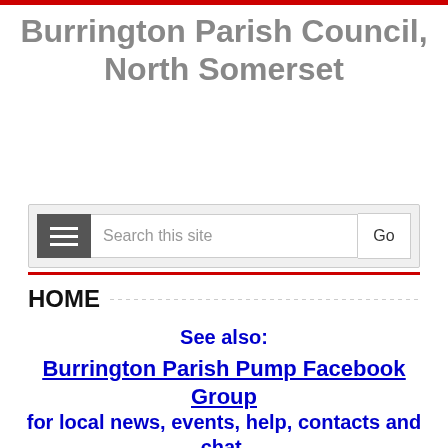Burrington Parish Council, North Somerset
[Figure (screenshot): Search bar with hamburger menu icon on left, text field with 'Search this site', and a 'Go' button on the right. Below the bar is a red accent line.]
HOME
See also:
Burrington Parish Pump Facebook Group
for local news, events, help, contacts and chat.